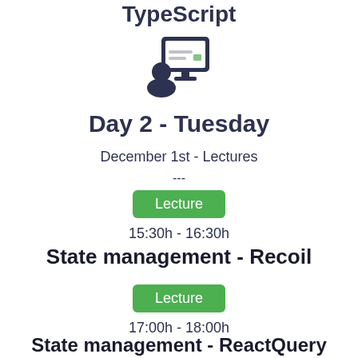TypeScript
[Figure (illustration): Presenter/lecture icon showing a person at a display screen]
Day 2 - Tuesday
December 1st - Lectures
---
Lecture
15:30h - 16:30h
State management - Recoil
Lecture
17:00h - 18:00h
State management - ReactQuery
Lecture